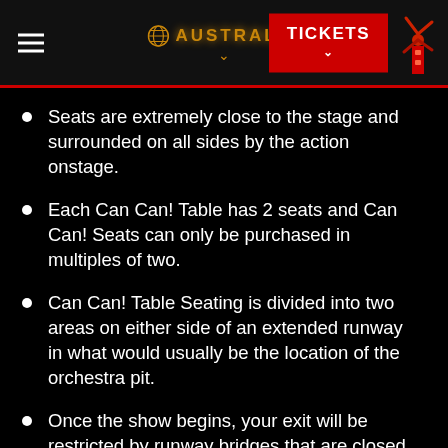AUSTRALIA | TICKETS
Seats are extremely close to the stage and surrounded on all sides by the action onstage.
Each Can Can! Table has 2 seats and Can Can! Seats can only be purchased in multiples of two.
Can Can! Table Seating is divided into two areas on either side of an extended runway in what would usually be the location of the orchestra pit.
Once the show begins, your exit will be restricted by runway bridges that are closed around the Can Can! Table Seating area during much of the